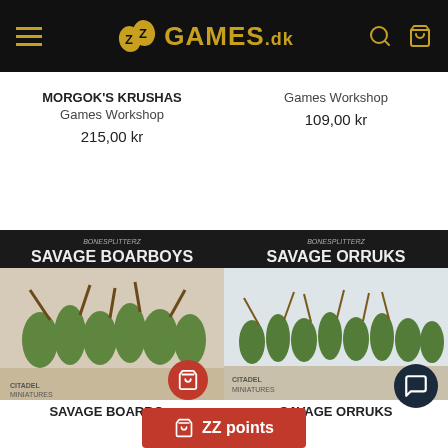ZZ GAMES.dk
MORGOK'S KRUSHAS
Games Workshop
215,00 kr
Games Workshop
109,00 kr
[Figure (photo): Box art for Savage Boarboys Bonesplitterz miniatures by Citadel]
[Figure (photo): Box art for Savage Orruks Bonesplitterz miniatures by Citadel]
SAVAGE BOARBO...
SAVAGE ORRUKS
ZZ points